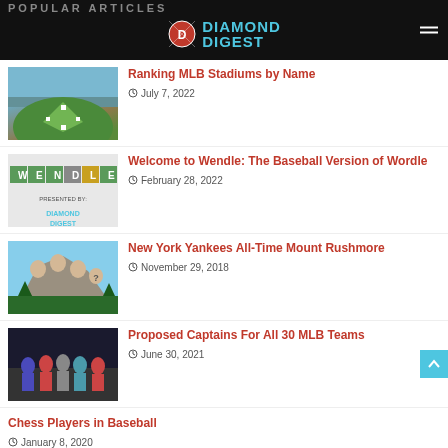POPULAR ARTICLES — Diamond Digest
Ranking MLB Stadiums by Name — July 7, 2022
Welcome to Wendle: The Baseball Version of Wordle — February 28, 2022
New York Yankees All-Time Mount Rushmore — November 29, 2018
Proposed Captains For All 30 MLB Teams — June 30, 2021
Chess Players in Baseball — January 8, 2020